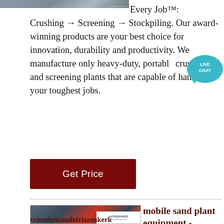[Figure (photo): Top portion of mining/crushing equipment image, partial view]
Every Job™: Crushing → Screening → Stockpiling. Our award-winning products are your best choice for innovation, durability and productivity. We manufacture only heavy-duty, portable crushing and screening plants that are capable of handling your toughest jobs.
[Figure (infographic): Live Chat speech bubble icon in teal with text LIVE CHAT]
[Figure (other): Get Price button - dark red/maroon button]
[Figure (photo): Mobile sand plant equipment - industrial crusher machinery in a factory with red and grey components, ACRUSHER Mining Equipment logo overlay]
mobile sand plant equipment -
vriendenvandefriezenkerk